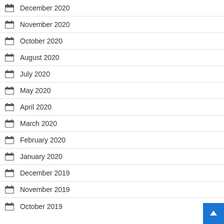December 2020
November 2020
October 2020
August 2020
July 2020
May 2020
April 2020
March 2020
February 2020
January 2020
December 2019
November 2019
October 2019